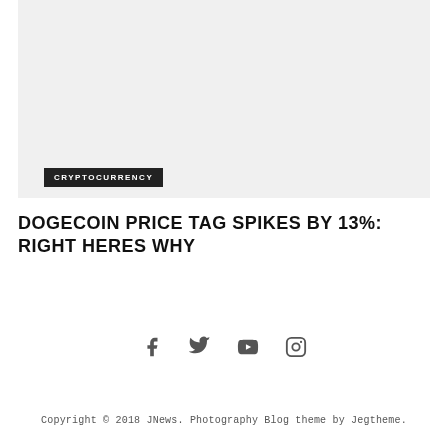[Figure (photo): Light gray placeholder image block at the top of the page]
CRYPTOCURRENCY
DOGECOIN PRICE TAG SPIKES BY 13%: RIGHT HERES WHY
[Figure (other): Social media icons: Facebook, Twitter, YouTube, Instagram]
Copyright © 2018 JNews. Photography Blog theme by Jegtheme.